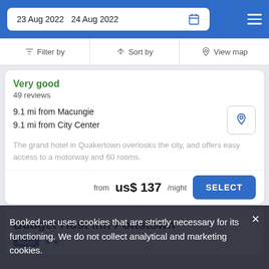23 Aug 2022  24 Aug 2022
Filter by  Sort by  View map
Very good
49 reviews
9.1 mi from Macungie
9.1 mi from City Center
The grand hotel in Quakertown overlooks the city, and offers easy access to a motorway and 60 rooms.
from us$ 137/night
Budget Host Inn Pottstown
Motel ★★
Booked.net uses cookies that are strictly necessary for its functioning. We do not collect analytical and marketing cookies.